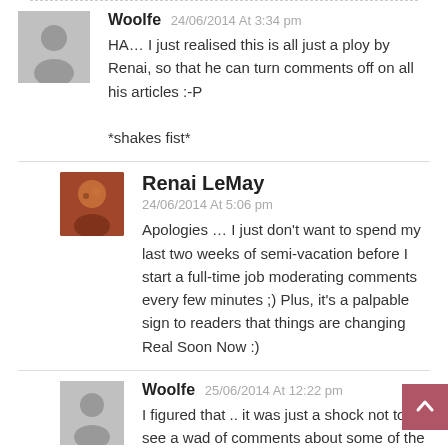Woolfe 24/06/2014 At 3:34 pm
HA… I just realised this is all just a ploy by Renai, so that he can turn comments off on all his articles :-P
*shakes fist*
Renai LeMay
24/06/2014 At 5:06 pm
Apologies … I just don't want to spend my last two weeks of semi-vacation before I start a full-time job moderating comments every few minutes ;) Plus, it's a palpable sign to readers that things are changing Real Soon Now :)
Woolfe 25/06/2014 At 12:22 pm
I figured that .. it was just a shock not to see a wad of comments about some of the articles. It